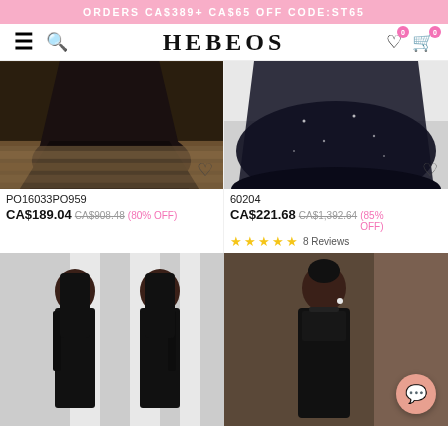ORDERS CA$389+ CA$65 OFF CODE:ST65
HEBEOS
PO16033PO959
CA$189.04 CA$908.48 (80% OFF)
[Figure (photo): Black gown trailing on wooden floor, bottom portion of dress visible]
[Figure (photo): Black tulle ball gown bottom with sparkles on floor]
60204
CA$221.68 CA$1,392.64 (85% OFF)
★★★★★ 8 Reviews
[Figure (photo): Two women in black deep-V dresses in front of white geometric backdrop]
[Figure (photo): Woman in black lace gown standing in interior setting]